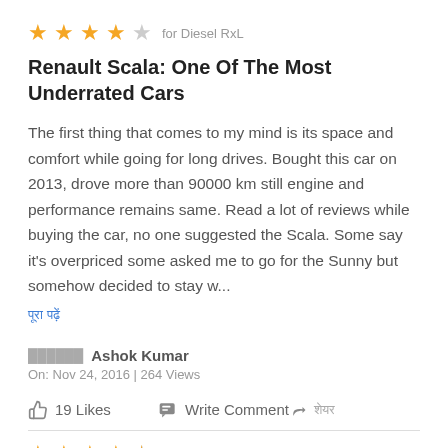[Figure (other): 4 filled gold stars out of 5, labeled 'for Diesel RxL']
Renault Scala: One Of The Most Underrated Cars
The first thing that comes to my mind is its space and comfort while going for long drives. Bought this car on 2013, drove more than 90000 km still engine and performance remains same. Read a lot of reviews while buying the car, no one suggested the Scala. Some say it's overpriced some asked me to go for the Sunny but somehow decided to stay w...
पूरा पढ़ें (Read More link in Hindi)
Ashok Kumar
On: Nov 24, 2016 | 264 Views
19 Likes   Write Comment   शेयर
[Figure (other): 4.5 filled gold stars out of 5, labeled 'for Diesel RxL']